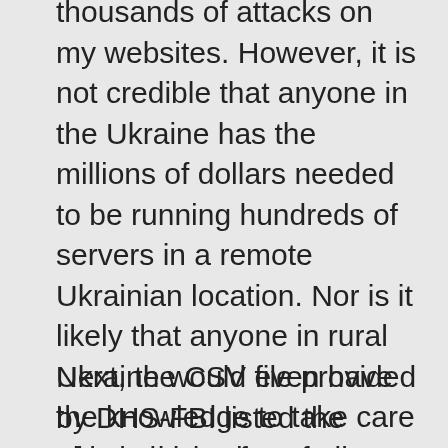thousands of attacks on my websites. However, it is not credible that anyone in the Ukraine has the millions of dollars needed to be running hundreds of servers in a remote Ukrainian location. Nor is it likely that anyone in rural Ukraine would even have the knowledge to take care of hundreds of servers even if they did have the millions of dollars needed to plow into buying these servers. Nor are they likely to have the knowledge needed to be running very complex cyber attacks. Ukraine is just not a good location for servers. This experience convinced me that attacks were being launched from other locations and were merely being routed through Ukraine in order to mislead people about where the attacks were really coming from.
Next, the CSV file provided by DHS-FBI listed the physical location of all 885 IP addresses.